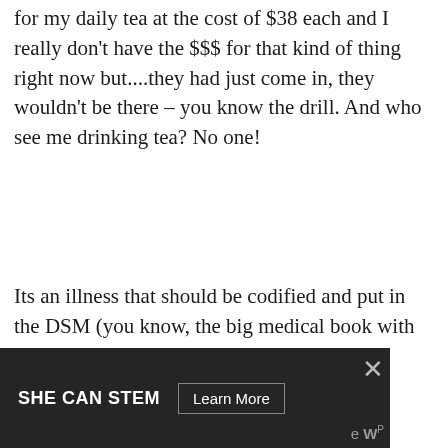for my daily tea at the cost of $38 each and I really don't have the $$$ for that kind of thing right now but....they had just come in, they wouldn't be there – you know the drill. And who see me drinking tea? No one!
Its an illness that should be codified and put in the DSM (you know, the big medical book with all the illnesses!)
S
8.
Jane on February 16, 2018 at 1:50 pm
Completely agree. Especially about the every day utilitarian object thing. If I'm
[Figure (other): Advertisement banner with dark background reading 'SHE CAN STEM' with a 'Learn More' button, close X icon, and website logo]